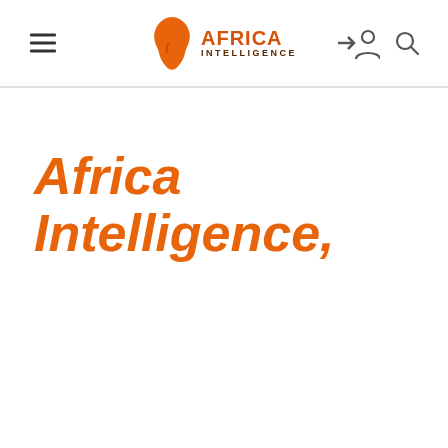Africa Intelligence
Africa Intelligence,